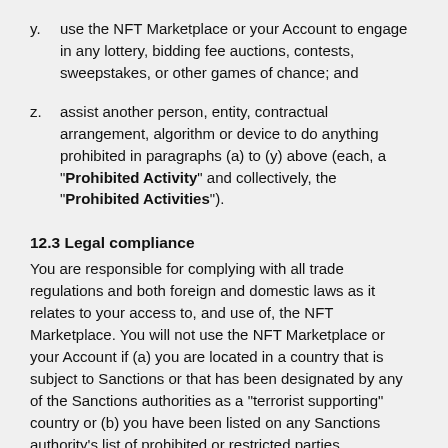y. use the NFT Marketplace or your Account to engage in any lottery, bidding fee auctions, contests, sweepstakes, or other games of chance; and
z. assist another person, entity, contractual arrangement, algorithm or device to do anything prohibited in paragraphs (a) to (y) above (each, a "Prohibited Activity" and collectively, the "Prohibited Activities").
12.3 Legal compliance
You are responsible for complying with all trade regulations and both foreign and domestic laws as it relates to your access to, and use of, the NFT Marketplace. You will not use the NFT Marketplace or your Account if (a) you are located in a country that is subject to Sanctions or that has been designated by any of the Sanctions authorities as a "terrorist supporting" country or (b) you have been listed on any Sanctions authority's list of prohibited or restricted parties.
12.4 Effect of your breach
If you engage in any of the Prohibited Activities, we may, at our sole